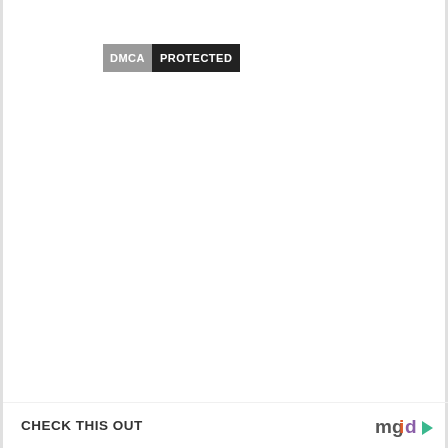[Figure (logo): DMCA PROTECTED badge with two-tone design: left grey box with 'DMCA' text and right black box with 'PROTECTED' text]
CHECK THIS OUT   mgid ▷